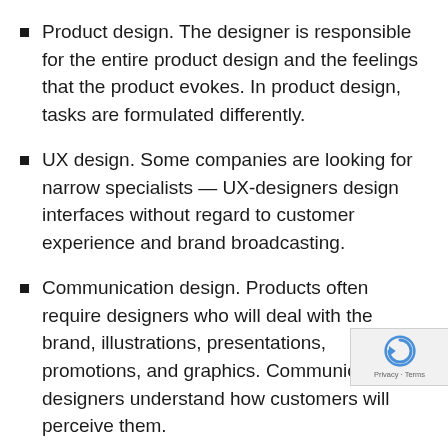Product design. The designer is responsible for the entire product design and the feelings that the product evokes. In product design, tasks are formulated differently.
UX design. Some companies are looking for narrow specialists — UX-designers design interfaces without regard to customer experience and brand broadcasting.
Communication design. Products often require designers who will deal with the brand, illustrations, presentations, promotions, and graphics. Communication designers understand how customers will perceive them.
Research. If companies have a well-devel design process, they often resort to researchers who prepare usability tests,